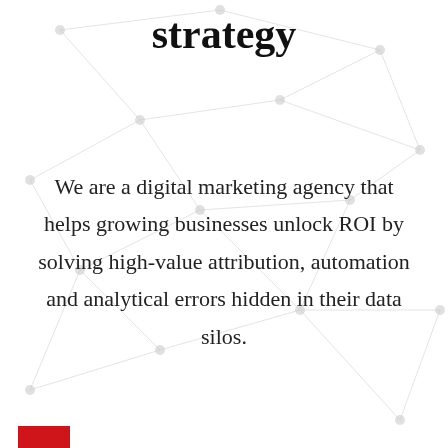strategy
We are a digital marketing agency that helps growing businesses unlock ROI by solving high-value attribution, automation and analytical errors hidden in their data silos.
[Figure (other): A red rectangle bar in the bottom-left corner, decorative.]